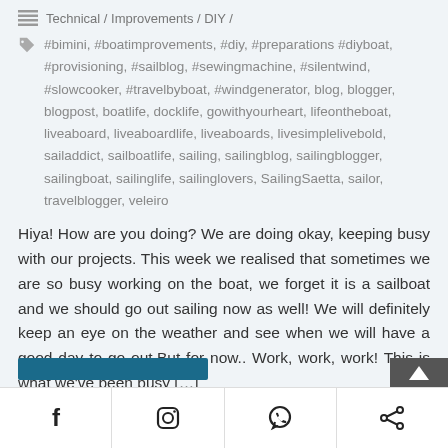Technical / Improvements / DIY /
#bimini, #boatimprovements, #diy, #preparations #diyboat, #provisioning, #sailblog, #sewingmachine, #silentwind, #slowcooker, #travelbyboat, #windgenerator, blog, blogger, blogpost, boatlife, docklife, gowithyourheart, lifeontheboat, liveaboard, liveaboardlife, liveaboards, livesimplelivebold, sailaddict, sailboatlife, sailing, sailingblog, sailingblogger, sailingboat, sailinglife, sailinglovers, SailingSaetta, sailor, travelblogger, veleiro
Hiya! How are you doing? We are doing okay, keeping busy with our projects. This week we realised that sometimes we are so busy working on the boat, we forget it is a sailboat and we should go out sailing now as well! We will definitely keep an eye on the weather and see when we will have a good day to go out.But for now.. Work, work, work! This is what we've been busy […]
Social icons: Facebook, Instagram, WhatsApp, Share